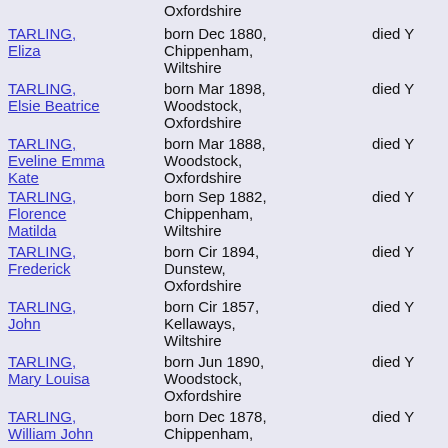Oxfordshire
TARLING, Eliza — born Dec 1880, Chippenham, Wiltshire — died Y
TARLING, Elsie Beatrice — born Mar 1898, Woodstock, Oxfordshire — died Y
TARLING, Eveline Emma Kate — born Mar 1888, Woodstock, Oxfordshire — died Y
TARLING, Florence Matilda — born Sep 1882, Chippenham, Wiltshire — died Y
TARLING, Frederick — born Cir 1894, Dunstew, Oxfordshire — died Y
TARLING, John — born Cir 1857, Kellaways, Wiltshire — died Y
TARLING, Mary Louisa — born Jun 1890, Woodstock, Oxfordshire — died Y
TARLING, William John — born Dec 1878, Chippenham, — died Y